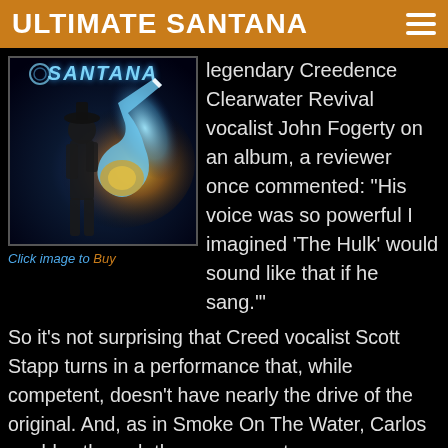ULTIMATE SANTANA
[Figure (photo): Santana album cover showing a guitarist silhouette with glowing guitar against a dark background, with the Santana logo at top]
Click image to Buy
legendary Creedence Clearwater Revival vocalist John Fogerty on an album, a reviewer once commented: “His voice was so powerful I imagined ‘The Hulk’ would sound like that if he sang.’”
So it’s not surprising that Creed vocalist Scott Stapp turns in a performance that, while competent, doesn’t have nearly the drive of the original. And, as in Smoke On The Water, Carlos rambles through the song non-stop — even over the trademark riff in the